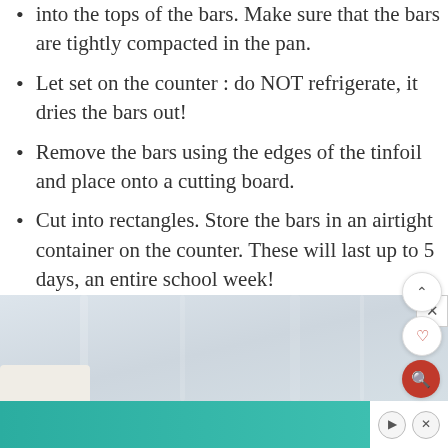into the tops of the bars. Make sure that the bars are tightly compacted in the pan.
Let set on the counter : do NOT refrigerate, it dries the bars out!
Remove the bars using the edges of the tinfoil and place onto a cutting board.
Cut into rectangles. Store the bars in an airtight container on the counter. These will last up to 5 days, an entire school week!
[Figure (photo): Partial photo of a food item on a light grey/white background, with a teal/green advertisement banner at the bottom.]